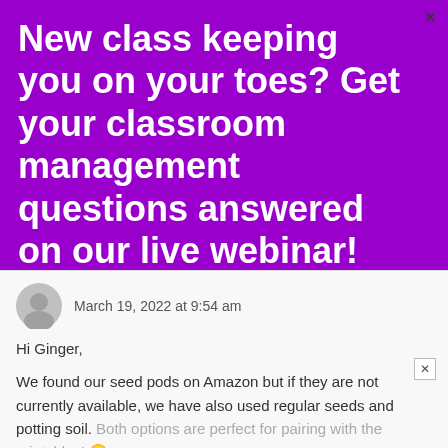[Figure (other): Purple advertisement banner with white bold text and yellow 'Sign me up!' button for a classroom management webinar]
March 19, 2022 at 9:54 am
Hi Ginger,
We found our seed pods on Amazon but if they are not currently available, we have also used regular seeds and potting soil. Both options are perfect for pairing with the printables! 🙂